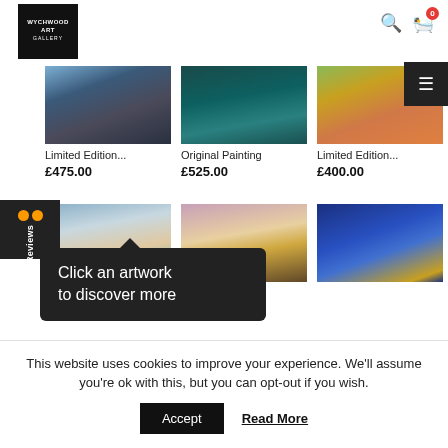[Figure (screenshot): Wychwood Art Gallery logo — white text on black square background]
[Figure (photo): Dark mountain landscape painting]
Limited Edition...
£475.00
[Figure (photo): Ocean waves painting]
Original Painting
£525.00
[Figure (photo): Colourful hills landscape painting]
Limited Edition...
£400.00
[Figure (photo): Abstract soft landscape painting]
[Figure (photo): Road through landscape painting]
[Figure (photo): Blue abstract painting with gold]
Click an artwork
to discover more
This website uses cookies to improve your experience. We'll assume you're ok with this, but you can opt-out if you wish.
Accept
Read More